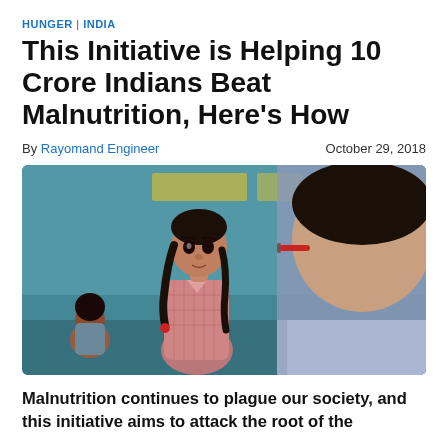HUNGER | INDIA
This Initiative is Helping 10 Crore Indians Beat Malnutrition, Here's How
By Rayomand Engineer    October 29, 2018
[Figure (photo): A young Indian girl in school uniform with braids looking at an adult male in glasses, in a teal/turquoise classroom setting.]
Malnutrition continues to plague our society, and this initiative aims to attack the root of the